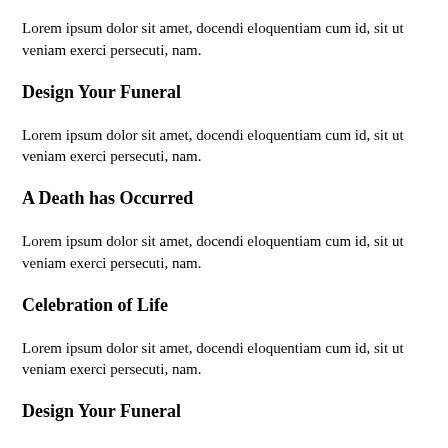Lorem ipsum dolor sit amet, docendi eloquentiam cum id, sit ut veniam exerci persecuti, nam.
Design Your Funeral
Lorem ipsum dolor sit amet, docendi eloquentiam cum id, sit ut veniam exerci persecuti, nam.
A Death has Occurred
Lorem ipsum dolor sit amet, docendi eloquentiam cum id, sit ut veniam exerci persecuti, nam.
Celebration of Life
Lorem ipsum dolor sit amet, docendi eloquentiam cum id, sit ut veniam exerci persecuti, nam.
Design Your Funeral